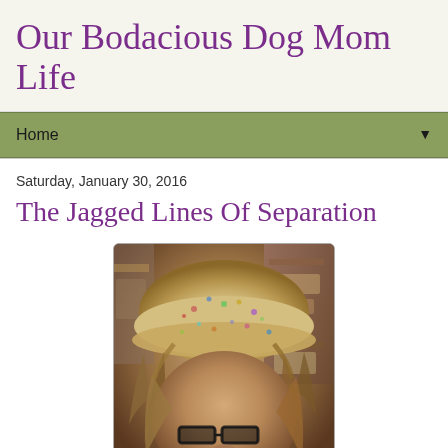Our Bodacious Dog Mom Life
Home
Saturday, January 30, 2016
The Jagged Lines Of Separation
[Figure (photo): A woman wearing a decorative floral/patterned hat or headpiece, with wavy hair, wearing glasses, and holding something in her mouth. The photo has a warm sepia/vintage tone with a store or shop background visible.]